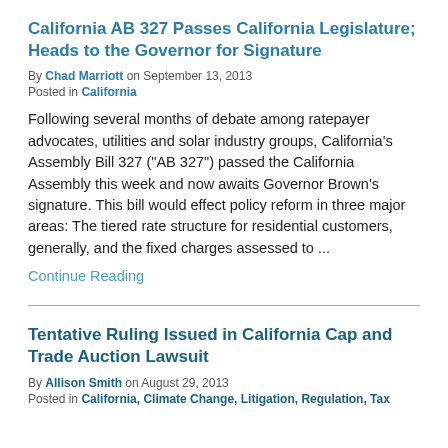California AB 327 Passes California Legislature; Heads to the Governor for Signature
By Chad Marriott on September 13, 2013
Posted in California
Following several months of debate among ratepayer advocates, utilities and solar industry groups, California's Assembly Bill 327 ("AB 327") passed the California Assembly this week and now awaits Governor Brown's signature. This bill would effect policy reform in three major areas: The tiered rate structure for residential customers, generally, and the fixed charges assessed to ...
Continue Reading
Tentative Ruling Issued in California Cap and Trade Auction Lawsuit
By Allison Smith on August 29, 2013
Posted in California, Climate Change, Litigation, Regulation, Tax